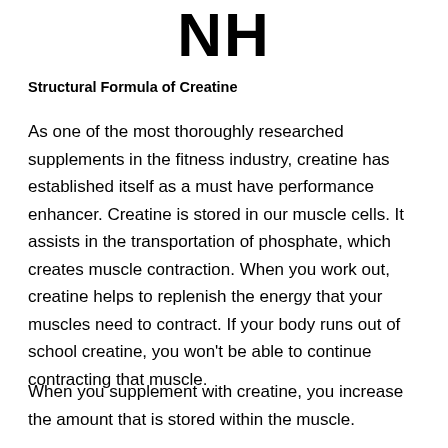NH
Structural Formula of Creatine
As one of the most thoroughly researched supplements in the fitness industry, creatine has established itself as a must have performance enhancer. Creatine is stored in our muscle cells. It assists in the transportation of phosphate, which creates muscle contraction. When you work out, creatine helps to replenish the energy that your muscles need to contract. If your body runs out of school creatine, you won't be able to continue contracting that muscle.
When you supplement with creatine, you increase the amount that is stored within the muscle.